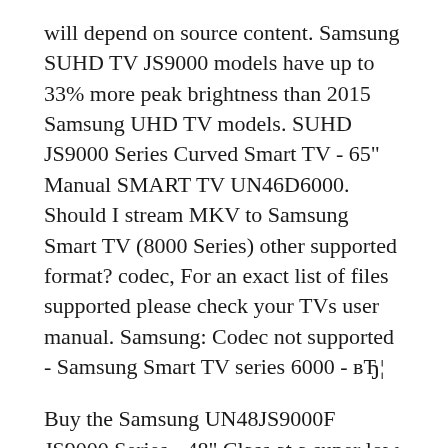will depend on source content. Samsung SUHD TV JS9000 models have up to 33% more peak brightness than 2015 Samsung UHD TV models. SUHD JS9000 Series Curved Smart TV - 65" Manual SMART TV UN46D6000. Should I stream MKV to Samsung Smart TV (8000 Series) other supported format? codec, For an exact list of files supported please check your TVs user manual. Samsung: Codec not supported - Samsung Smart TV series 6000 - вЂ¦
Buy the Samsung UN48JS9000F JS9000 Series - 48" Class at a super low price. TigerDirect.com is your one source for the best computer and electronics deals anywhere, anytime. Visit Samsung today for 4K SUHD JS9000 Series